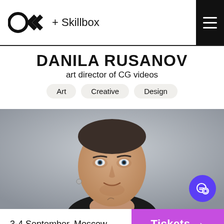OKconf + Skillbox
DANILA RUSANOV
art director of CG videos
Art
Creative
Design
[Figure (photo): Headshot of Danila Rusanov, a middle-aged man with short hair and an earring, against a grey background]
3-4 September, Moscow    Tickets →